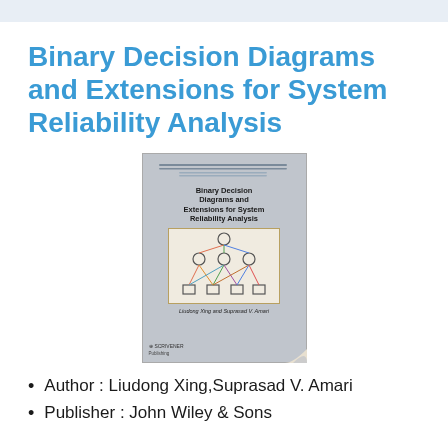Binary Decision Diagrams and Extensions for System Reliability Analysis
[Figure (illustration): Book cover of 'Binary Decision Diagrams and Extensions for System Reliability Analysis' by Liudong Xing and Suprasad V. Amari, published by Scrivener Publishing. Cover shows a network/graph diagram with circles and rectangles connected by colored lines on a beige background, on a grey cover.]
Author : Liudong Xing,Suprasad V. Amari
Publisher : John Wiley & Sons